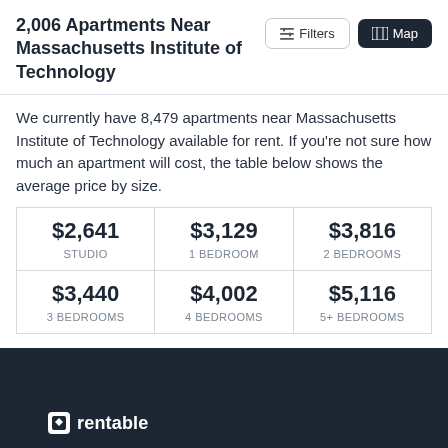2,006 Apartments Near Massachusetts Institute of Technology
We currently have 8,479 apartments near Massachusetts Institute of Technology available for rent. If you're not sure how much an apartment will cost, the table below shows the average price by size.
| STUDIO | 1 BEDROOM | 2 BEDROOMS | 3 BEDROOMS | 4 BEDROOMS | 5+ BEDROOMS |
| --- | --- | --- | --- | --- | --- |
| $2,641 | $3,129 | $3,816 |
| $3,440 | $4,002 | $5,116 |
rentable